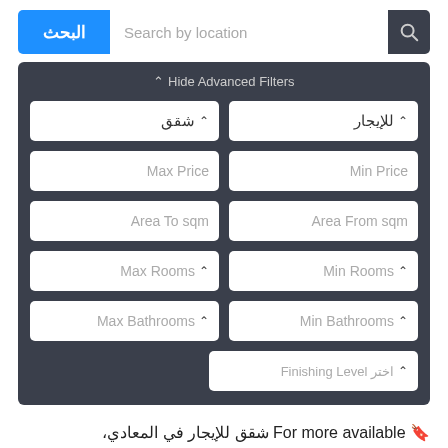[Figure (screenshot): Real estate search filter UI with dark background. Contains search bar with Arabic 'البحث' button, location search input, 'Hide Advanced Filters' toggle, and multiple filter dropdown fields: شقق/للإيجار (apartment type/for rent), Max Price/Min Price, Area To sqm/Area From sqm, Max Rooms/Min Rooms, Max Bathrooms/Min Bathrooms, and Finishing Level اختر.]
For more available شقق للإيجار في المعادي،